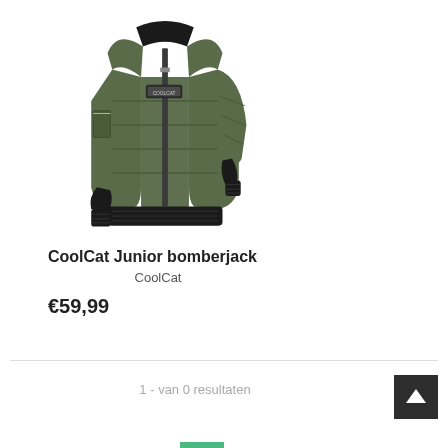[Figure (photo): A dark olive/army green CoolCat junior bomber jacket with black collar, black ribbed cuffs and hem, front zip, chest patch, and arm pocket with zipper.]
CoolCat Junior bomberjack
CoolCat
€59,99
1 - van 0 resultaten